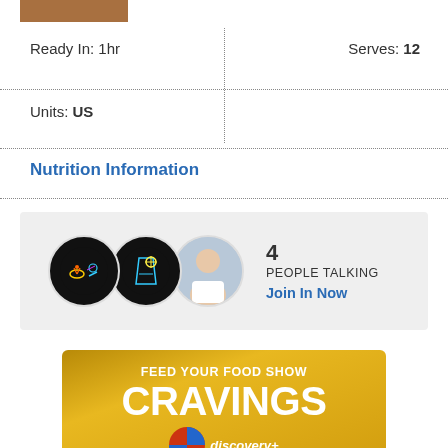[Figure (photo): Small food photo thumbnail at top left]
Ready In: 1hr
Serves: 12
Units: US
Nutrition Information
[Figure (infographic): Social widget showing 3 circular avatar icons and text '4 PEOPLE TALKING' with 'Join In Now' link in blue]
[Figure (infographic): Advertisement banner with golden/yellow background reading 'FEED YOUR FOOD SHOW CRAVINGS' with Discovery channel logo at bottom]